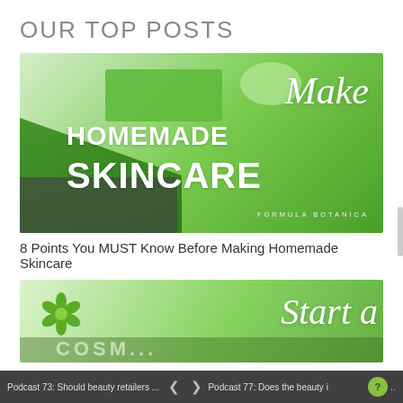OUR TOP POSTS
[Figure (photo): Promotional image with green-gloved hand on keyboard, scale and bowls with natural ingredients, overlaid with italic text 'Make HOMEMADE SKINCARE' and 'FORMULA BOTANICA' in white on a green background]
8 Points You MUST Know Before Making Homemade Skincare
[Figure (photo): Green-themed promotional image with flower logo on left and cursive white text 'Start a' on right, partial view of green cosmetics branding]
Podcast 73: Should beauty retailers ...  <  >  Podcast 77: Does the beauty i  ?  ...